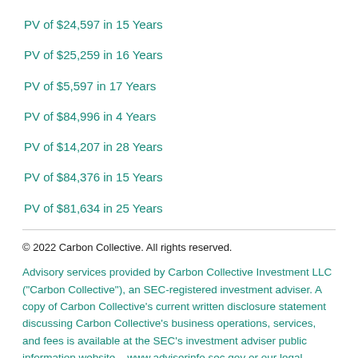PV of $24,597 in 15 Years
PV of $25,259 in 16 Years
PV of $5,597 in 17 Years
PV of $84,996 in 4 Years
PV of $14,207 in 28 Years
PV of $84,376 in 15 Years
PV of $81,634 in 25 Years
© 2022 Carbon Collective. All rights reserved.
Advisory services provided by Carbon Collective Investment LLC (“Carbon Collective”), an SEC-registered investment adviser. A copy of Carbon Collective’s current written disclosure statement discussing Carbon Collective’s business operations, services, and fees is available at the SEC’s investment adviser public information website – www.adviserinfo.sec.gov or our legal documents here.